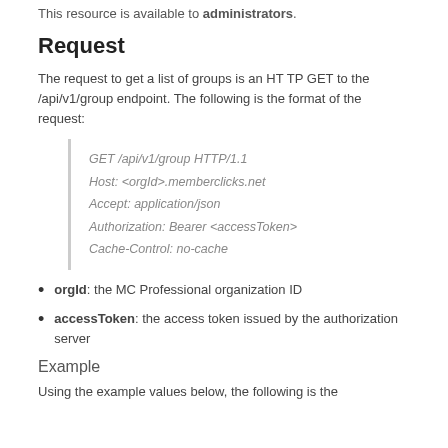This resource is available to administrators.
Request
The request to get a list of groups is an HTTP GET to the /api/v1/group endpoint. The following is the format of the request:
GET /api/v1/group HTTP/1.1
Host: <orgId>.memberclicks.net
Accept: application/json
Authorization: Bearer <accessToken>
Cache-Control: no-cache
orgId: the MC Professional organization ID
accessToken: the access token issued by the authorization server
Example
Using the example values below, the following is the